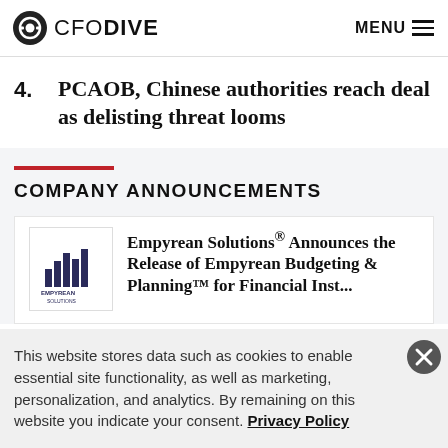CFO DIVE  MENU
4. PCAOB, Chinese authorities reach deal as delisting threat looms
COMPANY ANNOUNCEMENTS
Empyrean Solutions® Announces the Release of Empyrean Budgeting & Planning™ for Financial Inst...
This website stores data such as cookies to enable essential site functionality, as well as marketing, personalization, and analytics. By remaining on this website you indicate your consent. Privacy Policy